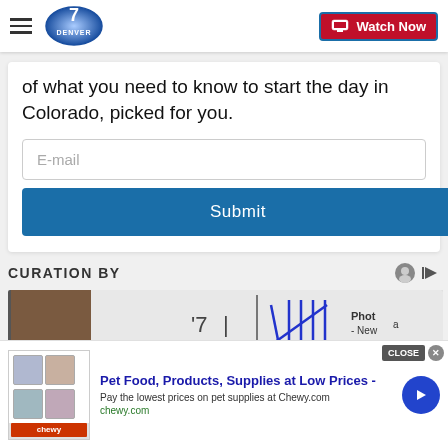Denver 7 — Watch Now
of what you need to know to start the day in Colorado, picked for you.
E-mail
Submit
CURATION BY
[Figure (photo): Partial view of a whiteboard or sign with handwritten numbers and letters]
Pet Food, Products, Supplies at Low Prices - Pay the lowest prices on pet supplies at Chewy.com chewy.com CLOSE